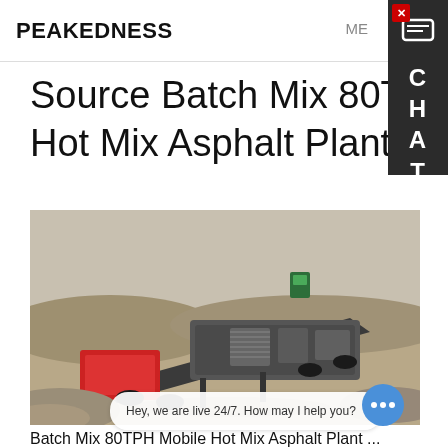PEAKEDNESS
Source Batch Mix 80TPH Mobile Hot Mix Asphalt Plant on m
[Figure (photo): Outdoor photo of a mobile hot mix asphalt plant / batch mixing equipment on a gravel/sand site. The machine is large and industrial, with a red component on the left and dark grey/black processing equipment. A green control box is visible in the background. Gravel piles and a sandy open area are visible.]
Batch Mix 80TPH Mobile Hot Mix Asphalt Plant ...